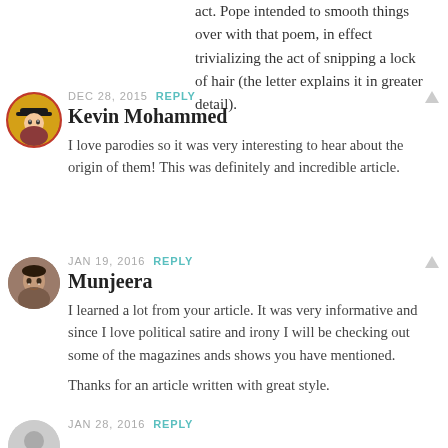act. Pope intended to smooth things over with that poem, in effect trivializing the act of snipping a lock of hair (the letter explains it in greater detail).
DEC 28, 2015  REPLY
Kevin Mohammed
I love parodies so it was very interesting to hear about the origin of them! This was definitely and incredible article.
JAN 19, 2016  REPLY
Munjeera
I learned a lot from your article. It was very informative and since I love political satire and irony I will be checking out some of the magazines ands shows you have mentioned.

Thanks for an article written with great style.
JAN 28, 2016  REPLY